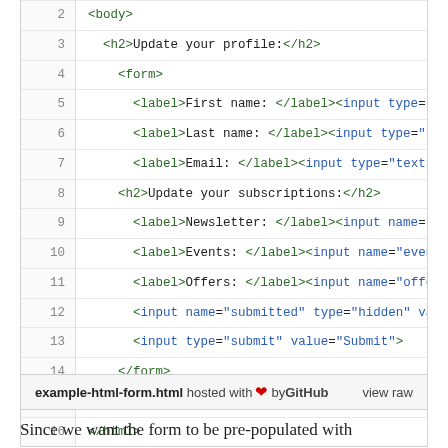[Figure (screenshot): Code block showing HTML form source code, lines 2-16, with syntax highlighting. Tags in green, attributes and values in blue. Footer bar shows filename 'example-html-form.html hosted with heart by GitHub' and 'view raw' link.]
Since we want the form to be pre-populated with